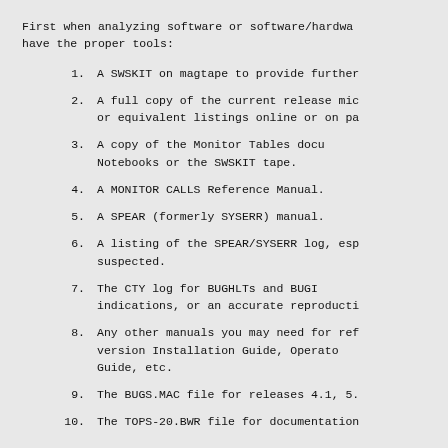First when analyzing software or software/hardware problems you must have the proper tools:
1.  A SWSKIT on magtape to provide further
2.  A full copy of the current release microcode listings, or equivalent listings online or on paper.
3.  A copy of the Monitor Tables documentation available in the Notebooks or the SWSKIT tape.
4.  A MONITOR CALLS Reference Manual.
5.  A SPEAR (formerly SYSERR) manual.
6.  A listing of the SPEAR/SYSERR log, especially if hardware is suspected.
7.  The CTY log for BUGHLTs and BUGINFs as hardware/software indications, or an accurate reproduction of the bug.
8.  Any other manuals you may need for reference, such as the version Installation Guide, Operator's Guide, System Manager's Guide, etc.
9.  The BUGS.MAC file for releases 4.1, 5.0
10.  The TOPS-20.BWR file for documentation